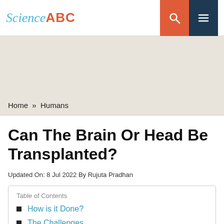Science ABC
Home » Humans
Can The Brain Or Head Be Transplanted?
Updated On: 8 Jul 2022 By Rujuta Pradhan
Table of Contents
How is it Done?
The Challenges